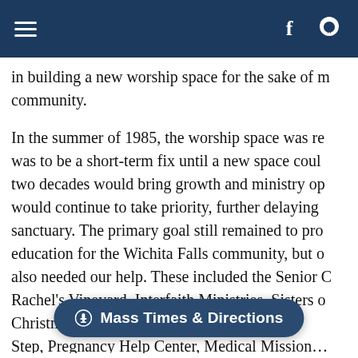[Navigation bar with hamburger menu, Facebook icon, and share icon]
in building a new worship space for the sake of m… community.
In the summer of 1985, the worship space was re… was to be a short-term fix until a new space coul… two decades would bring growth and ministry op… would continue to take priority, further delaying … sanctuary. The primary goal still remained to pro… education for the Wichita Falls community, but o… also needed our help. These included the Senior C… Rachel's Vineyard, Interfaith Ministries, Sisters o… Christmas in ac… Step, Pregnancy Help Center, Medical Mission…
Mass Times & Directions